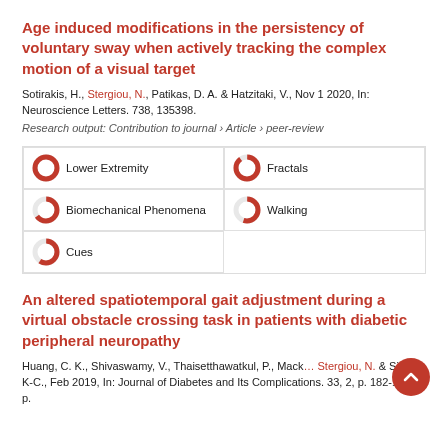Age induced modifications in the persistency of voluntary sway when actively tracking the complex motion of a visual target
Sotirakis, H., Stergiou, N., Patikas, D. A. & Hatzitaki, V., Nov 1 2020, In: Neuroscience Letters. 738, 135398.
Research output: Contribution to journal › Article › peer-review
[Figure (infographic): Fingerprint keyword bubbles with donut icons: Lower Extremity (100%), Fractals (~90%), Biomechanical Phenomena (~65%), Walking (~55%), Cues (~60%)]
An altered spatiotemporal gait adjustment during a virtual obstacle crossing task in patients with diabetic peripheral neuropathy
Huang, C. K., Shivaswamy, V., Thaisetthawatkul, P., Mack... Stergiou, N. & Siu, J. K-C., Feb 2019, In: Journal of Diabetes and Its Complications. 33, 2, p. 182-188 7 p.